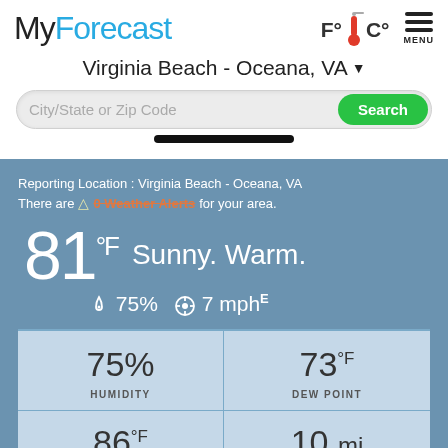MyForecast
Virginia Beach - Oceana, VA
City/State or Zip Code  Search
Reporting Location : Virginia Beach - Oceana, VA
There are 0 Weather Alerts for your area.
81°F   Sunny. Warm.
💧 75%   ⊙ 7 mph E
| Metric | Value |
| --- | --- |
| HUMIDITY | 75% |
| DEW POINT | 73°F |
|  | 86°F |
|  | 10 mi |